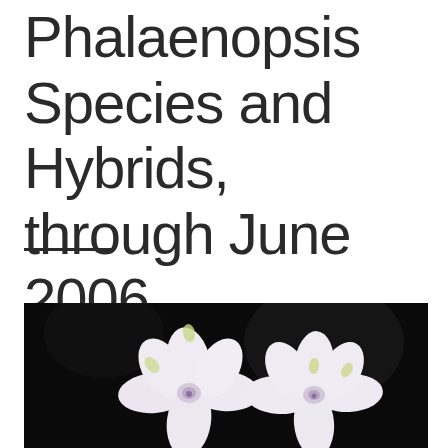Phalaenopsis Species and Hybrids, through June 2006
[Figure (photo): Two white and pale pink Phalaenopsis orchid flowers against a dark/black background]